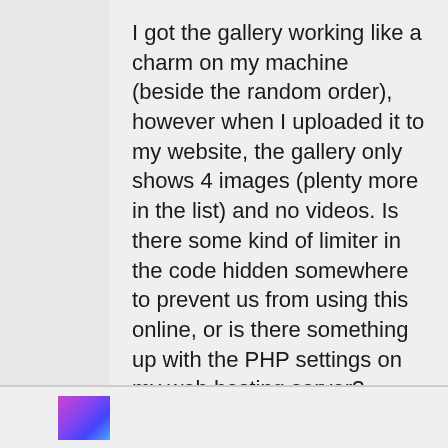I got the gallery working like a charm on my machine (beside the random order), however when I uploaded it to my website, the gallery only shows 4 images (plenty more in the list) and no videos. Is there some kind of limiter in the code hidden somewhere to prevent us from using this online, or is there something up with the PHP settings on my web hosting server?

HELP!!!!